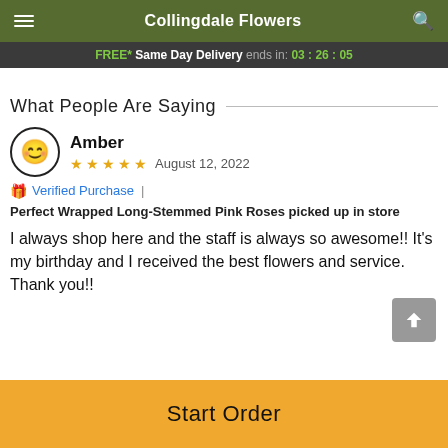Collingdale Flowers
FREE* Same Day Delivery ends in: 03:26:05
What People Are Saying
Amber
★★★★★  August 12, 2022
🏷 Verified Purchase | Perfect Wrapped Long-Stemmed Pink Roses picked up in store
I always shop here and the staff is always so awesome!! It's my birthday and I received the best flowers and service. Thank you!!
Start Order